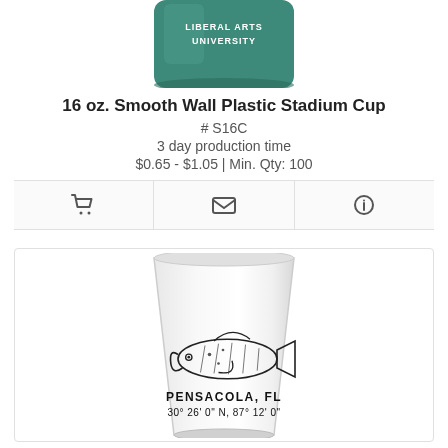[Figure (photo): Top portion of a teal/green plastic stadium cup with 'LIBERAL ARTS UNIVERSITY' text on it, cropped at top]
16 oz. Smooth Wall Plastic Stadium Cup
# S16C
3 day production time
$0.65 - $1.05 | Min. Qty: 100
[Figure (other): Three action icon buttons: shopping cart, envelope/email, and info circle]
[Figure (photo): A frosted white plastic cup with a fish (mahi-mahi/dolphinfish) illustration and text reading 'PENSACOLA, FL' and coordinates '30° 26' 0" N, 87° 12' 0"']